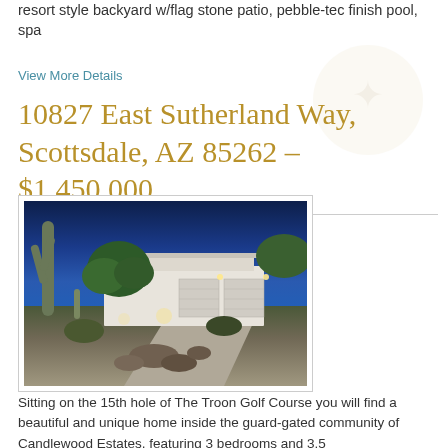resort style backyard w/flag stone patio, pebble-tec finish pool, spa
View More Details
10827 East Sutherland Way, Scottsdale, AZ 85262 - $1,450,000
[Figure (photo): Exterior nighttime photo of a modern single-story home with desert landscaping including saguaro cactus, shrubs, rocks, and a wide driveway with multiple garage doors, lit by exterior lights against a dark blue evening sky.]
Sitting on the 15th hole of The Troon Golf Course you will find a beautiful and unique home inside the guard-gated community of Candlewood Estates, featuring 3 bedrooms and 3.5